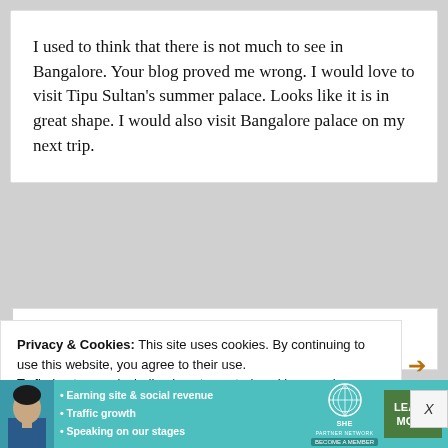I used to think that there is not much to see in Bangalore. Your blog proved me wrong. I would love to visit Tipu Sultan's summer palace. Looks like it is in great shape. I would also visit Bangalore palace on my next trip.
Privacy & Cookies: This site uses cookies. By continuing to use this website, you agree to their use.
To find out more, including how to control cookies, see here: Cookie Policy
[Figure (infographic): SHE Partner Network advertisement banner with photo of a woman, bullet points: Earning site & social revenue, Traffic growth, Speaking on our stages, and a LEARN MORE button]